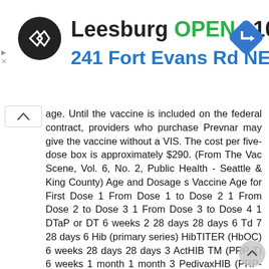[Figure (screenshot): Ad banner for a store in Leesburg showing black circle logo, store name 'Leesburg', status 'OPEN', hours '10AM–7PM', address '241 Fort Evans Rd NE, Leesb', and a blue navigation diamond icon. Small advertisement arrows on the left side.]
age. Until the vaccine is included on the federal contract, providers who purchase Prevnar may give the vaccine without a VIS. The cost per five-dose box is approximately $290. (From The Vac Scene, Vol. 6, No. 2, Public Health - Seattle & King County) Age and Dosage s Vaccine Age for First Dose 1 From Dose 1 to Dose 2 1 From Dose 2 to Dose 3 1 From Dose 3 to Dose 4 1 DTaP or DT 6 weeks 2 28 days 28 days 6 Td 7 28 days 6 Hib (primary series) HibTITER (HbOC) 6 weeks 28 days 28 days 3 ActHIB TM (PRP-T) 6 weeks 1 month 1 month 3 PedivaxHIB (PRP-OMP) 6 weeks 28 days 3 Polio 4 6 weeks 2 28 days 28 days 5 28 days 6 MMR days Hepatitis B 5 birth 5 28 days 2 8 Varicella days 1. These minimum acceptable ages and intervals may not correspond with the optimal recommended ages and intervals for vaccination. 2. The total number of doses of diphtheria and tetanus toxoids should not exceed six each before age The best number of Hib vaccines, which is a second second second second